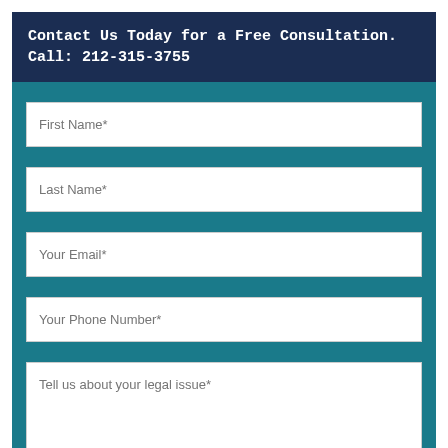Contact Us Today for a Free Consultation. Call: 212-315-3755
First Name*
Last Name*
Your Email*
Your Phone Number*
Tell us about your legal issue*
SUBMIT